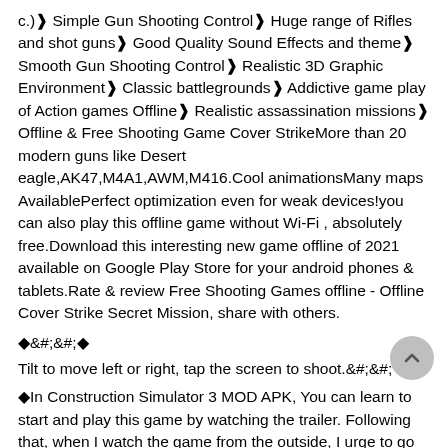c.)❱ Simple Gun Shooting Control❱ Huge range of Rifles and shot guns❱ Good Quality Sound Effects and theme❱ Smooth Gun Shooting Control❱ Realistic 3D Graphic Environment❱ Classic battlegrounds❱ Addictive game play of Action games Offline❱ Realistic assassination missions❱ Offline & Free Shooting Game Cover StrikeMore than 20 modern guns like Desert eagle,AK47,M4A1,AWM,M416.Cool animationsMany maps AvailablePerfect optimization even for weak devices!you can also play this offline game without Wi-Fi , absolutely free.Download this interesting new game offline of 2021 available on Google Play Store for your android phones & tablets.Rate & review Free Shooting Games offline - Offline Cover Strike Secret Mission, share with others.
🔶&#;🔶
Tilt to move left or right, tap the screen to shoot.&#;&#;
🔶In Construction Simulator 3 MOD APK, You can learn to start and play this game by watching the trailer. Following that, when I watch the game from the outside, I urge to go inside and play. The place